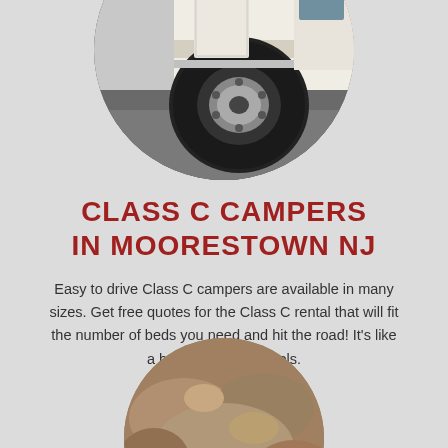[Figure (photo): Circular cropped photo of a Class C camper/RV showing the front wheel and lower body of the vehicle on a road]
CLASS C CAMPERS IN MOORESTOWN NJ
Easy to drive Class C campers are available in many sizes. Get free quotes for the Class C rental that will fit the number of beds you need and hit the road! It's like a hotel room on wheels.
[Figure (illustration): Dark circular arrow/navigation icon pointing right]
[Figure (photo): Circular cropped photo of a rocky or sandy terrain, partially visible at the bottom of the page]